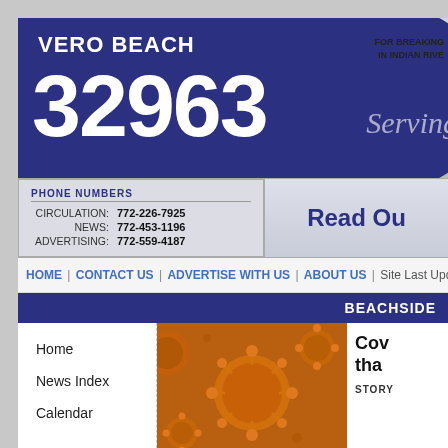VERO BEACH 32963
FOR BREAKING
IN INDIAN RIVE
Serving
PHONE NUMBERS
CIRCULATION: 772-226-7925
NEWS: 772-453-1196
ADVERTISING: 772-559-4187
Read Ou
HOME | CONTACT US | ADVERTISE WITH US | ABOUT US | Site Last Upda
BEACHSIDE
Home
News Index
Calendar
[Figure (photo): Close-up microscope image of coronavirus particles, sepia/orange tinted]
Cov
than
STORY